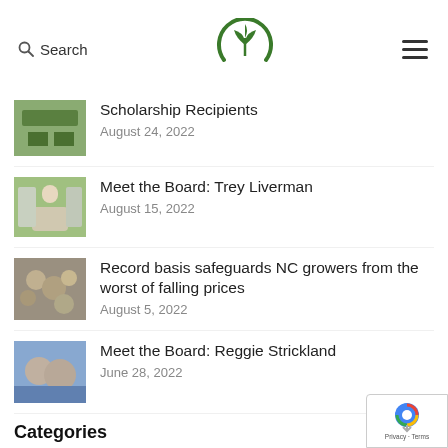Search [logo] [menu]
[Figure (logo): Green plant/leaf logo in a circular arc shape]
Scholarship Recipients — August 24, 2022
Meet the Board: Trey Liverman — August 15, 2022
Record basis safeguards NC growers from the worst of falling prices — August 5, 2022
Meet the Board: Reggie Strickland — June 28, 2022
Categories